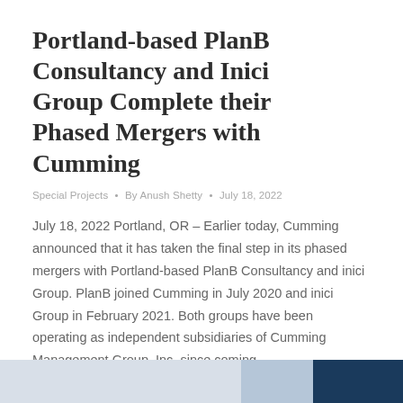Portland-based PlanB Consultancy and Inici Group Complete their Phased Mergers with Cumming
Special Projects • By Anush Shetty • July 18, 2022
July 18, 2022 Portland, OR – Earlier today, Cumming announced that it has taken the final step in its phased mergers with Portland-based PlanB Consultancy and inici Group. PlanB joined Cumming in July 2020 and inici Group in February 2021. Both groups have been operating as independent subsidiaries of Cumming Management Group, Inc. since coming...
[Figure (photo): Bottom strip showing partial images — light blue/grey left section and dark navy right section]